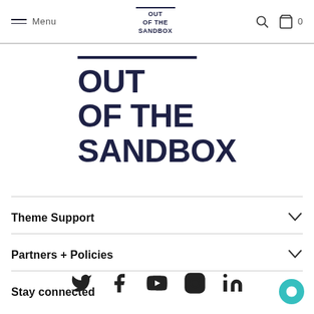Menu | OUT OF THE SANDBOX | 0
[Figure (logo): Out of the Sandbox logo with dark navy bar above bold uppercase text reading OUT OF THE SANDBOX]
Theme Support
Partners + Policies
Stay connected
[Figure (infographic): Social media icons row: Twitter, Facebook, YouTube, Instagram, LinkedIn]